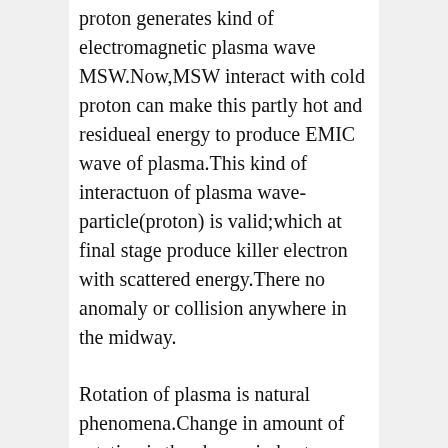proton generates kind of electromagnetic plasma wave MSW.Now,MSW interact with cold proton can make this partly hot and residueal energy to produce EMIC wave of plasma.This kind of interactuon of plasma wave-particle(proton) is valid;which at final stage produce killer electron with scattered energy.There no anomaly or collision anywhere in the midway.
Rotation of plasma is natural phenomena.Change in amount of rotation is the change in heat energy contained.So to balance change in rotation or heat energy,a counter effect is generated in the form of energy flow.The constituent plasma particle proton